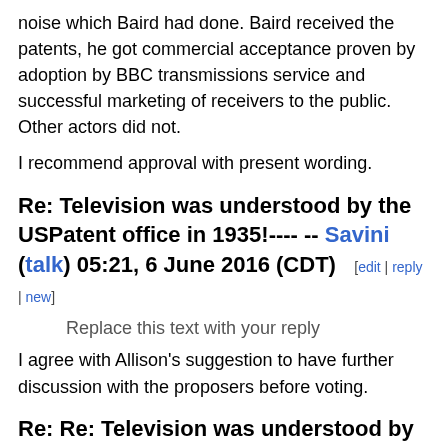noise which Baird had done. Baird received the patents, he got commercial acceptance proven by adoption by BBC transmissions service and successful marketing of receivers to the public. Other actors did not.
I recommend approval with present wording.
Re: Television was understood by the USPatent office in 1935!---- -- Savini (talk) 05:21, 6 June 2016 (CDT)  [edit | reply | new]
Replace this text with your reply
I agree with Allison's suggestion to have further discussion with the proposers before voting.
Re: Re: Television was understood by the USPatent office in 1935!---- -- Microman (talk) 08:13, 6 June 2016 (CDT)  [edit | reply | new]
Reply